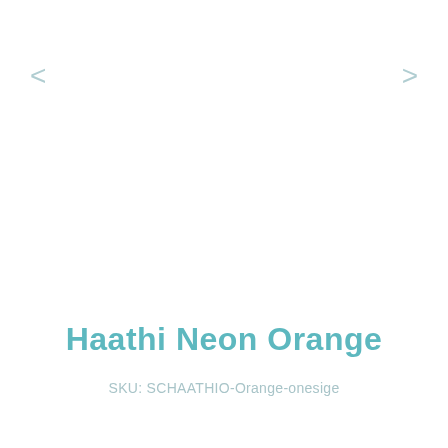Haathi Neon Orange
SKU: SCHAATHIO-Orange-onesige